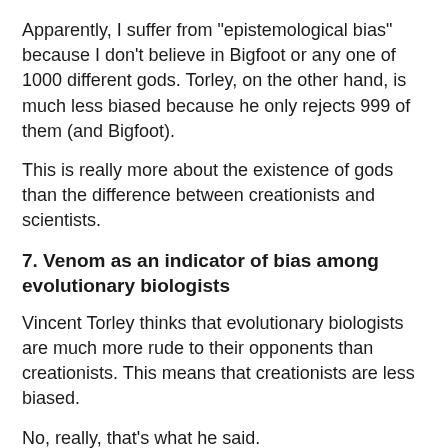Apparently, I suffer from "epistemological bias" because I don't believe in Bigfoot or any one of 1000 different gods. Torley, on the other hand, is much less biased because he only rejects 999 of them (and Bigfoot).
This is really more about the existence of gods than the difference between creationists and scientists.
7. Venom as an indicator of bias among evolutionary biologists
Vincent Torley thinks that evolutionary biologists are much more rude to their opponents than creationists. This means that creationists are less biased.
No, really, that's what he said.
The conclusion is obvious to Vincent Torley.
I put it to my readers that on any reasonable assessment of the evidence, evolutionary biologists who regard evolution as an unguided